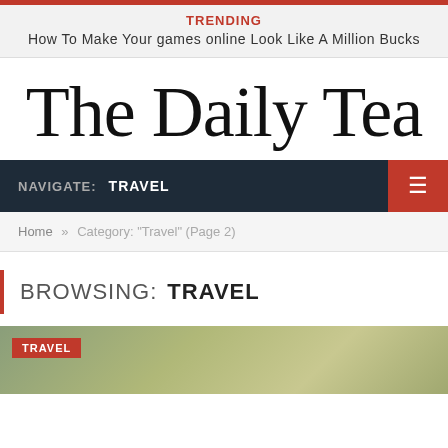TRENDING
How To Make Your games online Look Like A Million Bucks
The Daily Tea
NAVIGATE: TRAVEL
Home » Category: "Travel" (Page 2)
BROWSING: TRAVEL
[Figure (photo): Aerial photograph of a city/industrial area, partially visible at the bottom of the page with a TRAVEL tag overlay]